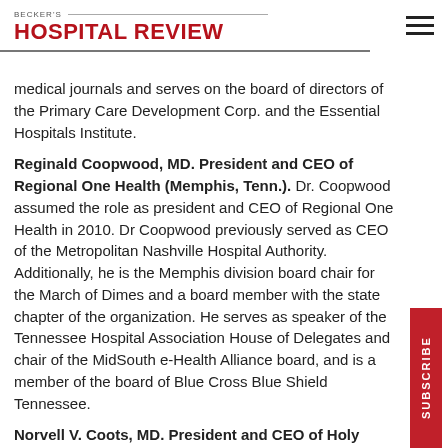BECKER'S HOSPITAL REVIEW
medical journals and serves on the board of directors of the Primary Care Development Corp. and the Essential Hospitals Institute.
Reginald Coopwood, MD. President and CEO of Regional One Health (Memphis, Tenn.). Dr. Coopwood assumed the role as president and CEO of Regional One Health in 2010. Dr Coopwood previously served as CEO of the Metropolitan Nashville Hospital Authority. Additionally, he is the Memphis division board chair for the March of Dimes and a board member with the state chapter of the organization. He serves as speaker of the Tennessee Hospital Association House of Delegates and chair of the MidSouth e-Health Alliance board, and is a member of the board of Blue Cross Blue Shield Tennessee.
Norvell V. Coots, MD. President and CEO of Holy Cross Health (Silver Spring, Md.). Dr. Coots is the president and CEO of Holy Cross